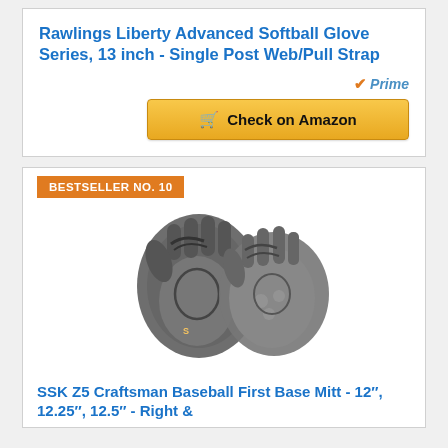Rawlings Liberty Advanced Softball Glove Series, 13 inch - Single Post Web/Pull Strap
[Figure (other): Amazon Prime badge with orange checkmark and blue italic 'Prime' text]
[Figure (other): Gold 'Check on Amazon' button with shopping cart icon]
BESTSELLER NO. 10
[Figure (photo): Two SSK Z5 Craftsman Baseball First Base Mitts shown from different angles, gray and black color]
SSK Z5 Craftsman Baseball First Base Mitt - 12", 12.25", 12.5" - Right &